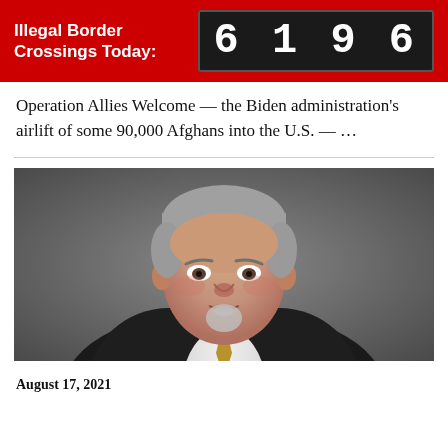Illegal Border Crossings Today: 6196
Operation Allies Welcome — the Biden administration's airlift of some 90,000 Afghans into the U.S. — …
[Figure (photo): Headshot of a middle-aged white man with grey hair and a goatee, wearing a dark suit jacket and white shirt with a gold tie, against a dark grey background.]
August 17, 2021